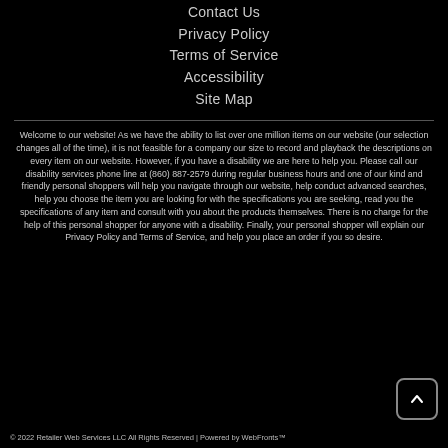Contact Us
Privacy Policy
Terms of Service
Accessibility
Site Map
Welcome to our website! As we have the ability to list over one million items on our website (our selection changes all of the time), it is not feasible for a company our size to record and playback the descriptions on every item on our website. However, if you have a disability we are here to help you. Please call our disability services phone line at (860) 887-2579 during regular business hours and one of our kind and friendly personal shoppers will help you navigate through our website, help conduct advanced searches, help you choose the item you are looking for with the specifications you are seeking, read you the specifications of any item and consult with you about the products themselves. There is no charge for the help of this personal shopper for anyone with a disability. Finally, your personal shopper will explain our Privacy Policy and Terms of Service, and help you place an order if you so desire.
© 2022 Retailer Web Services LLC All Rights Reserved | Powered by WebFronts™